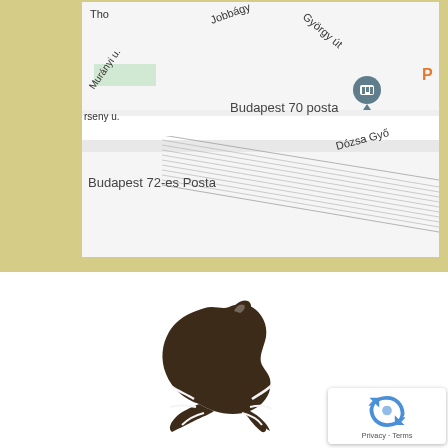[Figure (map): Google Maps screenshot showing Budapest area with markers for Budapest 70 posta and Budapest 72-es Posta. Streets visible include Jobbágy, György út, Murányi u., rseny u., and Dózsa Győr. A location pin icon marks Budapest 70 posta.]
[Figure (logo): Dark brown Merlion (lion head) logo/icon silhouette centered on white background]
[Figure (other): Google reCAPTCHA badge in bottom right corner showing reCAPTCHA icon with 'Privacy - Terms' text]